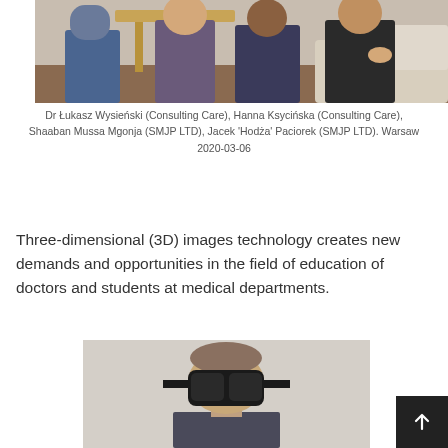[Figure (photo): Group photo of Dr Łukasz Wysieński, Hanna Ksycińska, Shaaban Mussa Mgonja, and Jacek 'Hodża' Paciorek seated in a room with a wooden table. Warsaw, 2020-03-06.]
Dr Łukasz Wysieński (Consulting Care), Hanna Ksycińska (Consulting Care), Shaaban Mussa Mgonja (SMJP LTD), Jacek 'Hodża' Paciorek (SMJP LTD). Warsaw 2020-03-06
Three-dimensional (3D) images technology creates new demands and opportunities in the field of education of doctors and students at medical departments.
[Figure (photo): Person wearing a VR headset, photographed from the front, against a light beige background.]